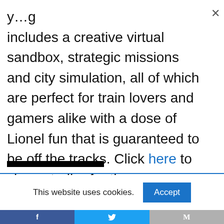includes a creative virtual sandbox, strategic missions and city simulation, all of which are perfect for train lovers and gamers alike with a dose of Lionel fun that is guaranteed to be off the tracks. Click here to view a trailer for the game.
This website uses cookies.
Accept